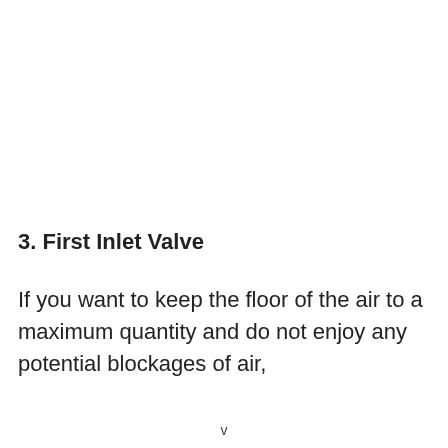3. First Inlet Valve
If you want to keep the floor of the air to a maximum quantity and do not enjoy any potential blockages of air,
v